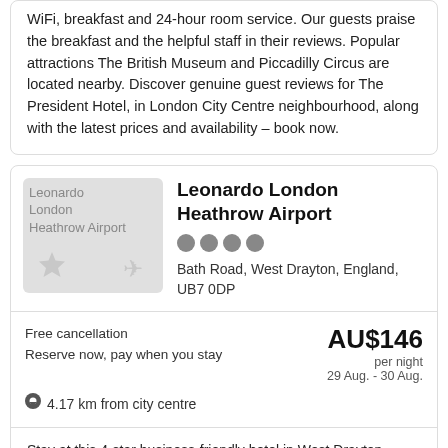WiFi, breakfast and 24-hour room service. Our guests praise the breakfast and the helpful staff in their reviews. Popular attractions The British Museum and Piccadilly Circus are located nearby. Discover genuine guest reviews for The President Hotel, in London City Centre neighbourhood, along with the latest prices and availability – book now.
[Figure (photo): Hotel image placeholder for Leonardo London Heathrow Airport with star and plane icons]
Leonardo London Heathrow Airport
Bath Road, West Drayton, England, UB7 0DP
Free cancellation
Reserve now, pay when you stay
AU$146 per night
29 Aug. - 30 Aug.
4.17 km from city centre
Stay at this 4-star business-friendly hotel in West Drayton. Enjoy free WiFi, breakfast and 24-hour room service. Our guests praise the clean rooms and the overall value in their reviews. Popular attractions Stockley Park and London Motor Museum